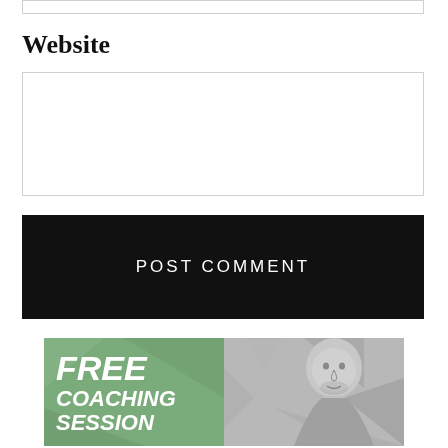Website
POST COMMENT
[Figure (photo): Promotional banner reading FREE COACHING SESSION with a bald man in black and white photo on the right side, geometric colored background on left side in green tones]